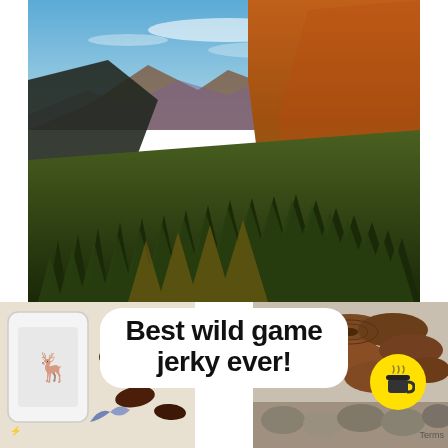[Figure (photo): Aerial drone view of a mountain valley with dense conifer forest and autumn-colored hillsides under a blue sky with wispy clouds.]
[Figure (photo): Bottom composite strip: left shows jerky packaging and dried meat pieces, right shows stacked logs/stones outdoors.]
Best wild game jerky ever!
[Figure (illustration): Yellow circular button with a coffee cup icon.]
Terms